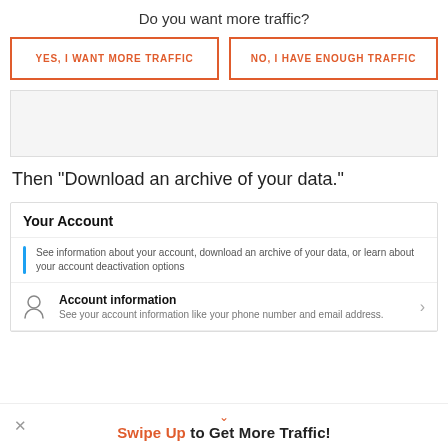Do you want more traffic?
[Figure (screenshot): Two call-to-action buttons: 'YES, I WANT MORE TRAFFIC' and 'NO, I HAVE ENOUGH TRAFFIC', both outlined in orange-red with orange-red text]
[Figure (screenshot): Gray content area representing a blurred/cropped screenshot section]
Then “Download an archive of your data.”
[Figure (screenshot): Twitter/X account settings card showing 'Your Account' header, description text 'See information about your account, download an archive of your data, or learn about your account deactivation options', and 'Account information' menu item with subtitle 'See your account information like your phone number and email address.']
Swipe Up to Get More Traffic!